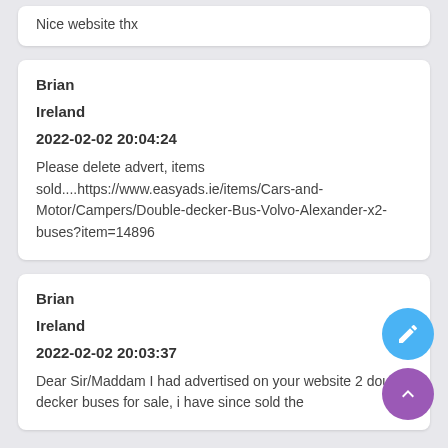Nice website thx
Brian
Ireland
2022-02-02 20:04:24
Please delete advert, items sold....https://www.easyads.ie/items/Cars-and-Motor/Campers/Double-decker-Bus-Volvo-Alexander-x2-buses?item=14896
Brian
Ireland
2022-02-02 20:03:37
Dear Sir/Maddam I had advertised on your website 2 double decker buses for sale, i have since sold the